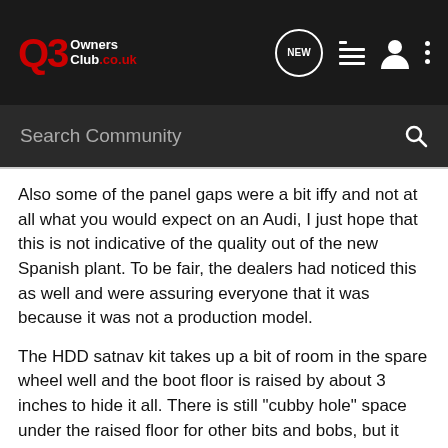Q3 Owners Club.co.uk
Also some of the panel gaps were a bit iffy and not at all what you would expect on an Audi, I just hope that this is not indicative of the quality out of the new Spanish plant. To be fair, the dealers had noticed this as well and were assuring everyone that it was because it was not a production model.
The HDD satnav kit takes up a bit of room in the spare wheel well and the boot floor is raised by about 3 inches to hide it all. There is still "cubby hole" space under the raised floor for other bits and bobs, but it does mean an overall reduction to the boot size.
Only other thing of note was that the load cover in the boot is not connected to the tailgate and so does not hinge up when you open it - it stays flat. As the boot lip is a bit higher than on